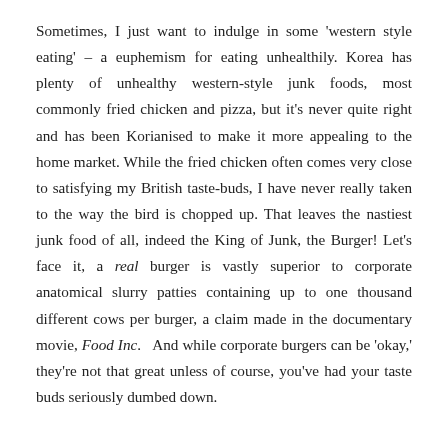Sometimes, I just want to indulge in some 'western style eating' – a euphemism for eating unhealthily. Korea has plenty of unhealthy western-style junk foods, most commonly fried chicken and pizza, but it's never quite right and has been Korianised to make it more appealing to the home market. While the fried chicken often comes very close to satisfying my British taste-buds, I have never really taken to the way the bird is chopped up. That leaves the nastiest junk food of all, indeed the King of Junk, the Burger! Let's face it, a real burger is vastly superior to corporate anatomical slurry patties containing up to one thousand different cows per burger, a claim made in the documentary movie, Food Inc.  And while corporate burgers can be 'okay,' they're not that great unless of course, you've had your taste buds seriously dumbed down.